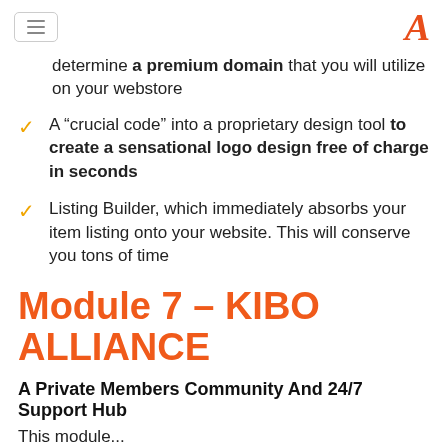[hamburger menu] [A logo]
determine a premium domain that you will utilize on your webstore
A “crucial code” into a proprietary design tool to create a sensational logo design free of charge in seconds
Listing Builder, which immediately absorbs your item listing onto your website. This will conserve you tons of time
Module 7 – KIBO ALLIANCE
A Private Members Community And 24/7 Support Hub
This module...